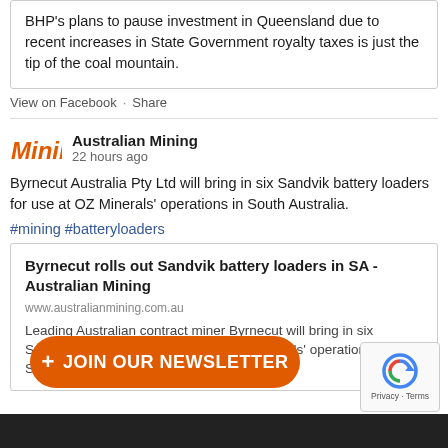BHP's plans to pause investment in Queensland due to recent increases in State Government royalty taxes is just the tip of the coal mountain.
View on Facebook · Share
Australian Mining
22 hours ago
Byrnecut Australia Pty Ltd will bring in six Sandvik battery loaders for use at OZ Minerals' operations in South Australia.
#mining #batteryloaders
Byrnecut rolls out Sandvik battery loaders in SA - Australian Mining
www.australianmining.com.au
Leading Australian contract miner Byrnecut will bring in six Sandvik battery loaders for use at OZ Minerals' operations in South Australia.